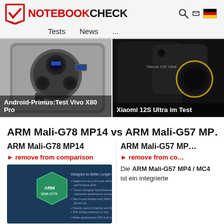[Figure (logo): NotebookCheck logo with red checkmark icon and NOTEBOOKCHECK wordmark]
Tests  News  ...
[Figure (photo): Two smartphone product images side by side: Vivo X80 Pro camera module and Xiaomi 12S Ultra device]
Android-Primus:Test Vivo X80 Pro
Xiaomi 12S Ultra im Test
ARM Mali-G78 MP14 vs ARM Mali-G57 MP...
ARM Mali-G78 MP14
► remove from comparison
[Figure (photo): ARM Mali-G78 chip promotional image with text: Designed for Better, Longer Mobile Entertainment]
ARM Mali-G57 MP...
► remove from comparison
Die ARM Mali-G57 MP4 / MC4 ist ein integrierte